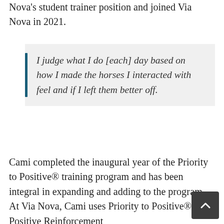Nova's student trainer position and joined Via Nova in 2021.
I judge what I do [each] day based on how I made the horses I interacted with feel and if I left them better off.
Cami completed the inaugural year of the Priority to Positive® training program and has been integral in expanding and adding to the program. At Via Nova, Cami uses Priority to Positive® and Positive Reinforcement